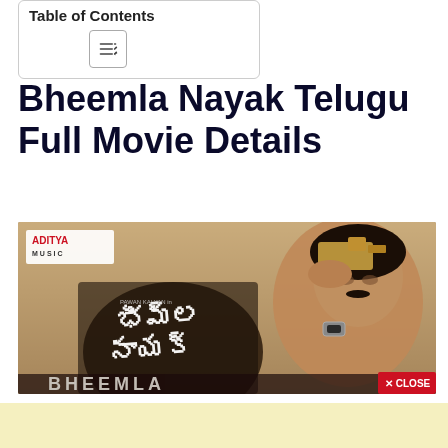Table of Contents
Bheemla Nayak Telugu Full Movie Details
[Figure (photo): Movie promotional image for Bheemla Nayak showing a man holding a gun to his head, with Aditya Music logo in top left corner and a red CLOSE button in bottom right. Telugu script text visible in center-left area. Sepia/warm toned image.]
[Figure (other): Yellow/cream colored advertisement placeholder box]